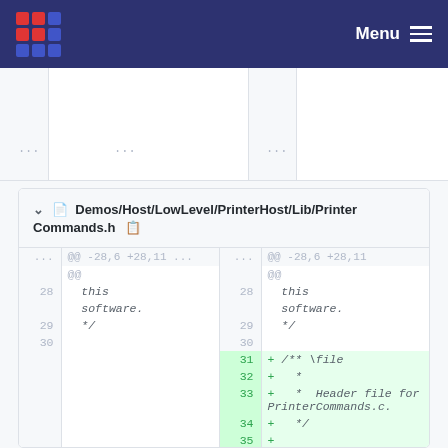Menu
[Figure (screenshot): Navigation bar with grid logo and Menu button on dark blue background]
...   ...   (partial table row)
Demos/Host/LowLevel/PrinterHost/Lib/PrinterCommands.h
| line-left | code-left | line-right | code-right |
| --- | --- | --- | --- |
| ... | @@ -28,6 +28,11 ... | ... | @@ -28,6 +28,11 @@ |
|  | @@ |  | @@ |
| 28 |   this | 28 |   this |
|  |   software. |  |   software. |
| 29 |   */ | 29 |   */ |
| 30 |  | 30 |  |
|  |  | 31 | + /** \file |
|  |  | 32 | + * |
|  |  | 33 | + *  Header file for PrinterCommands.c. |
|  |  | 34 | + */ |
|  |  | 35 | + |
| 31 | #ifndef | 36 | #ifndef |